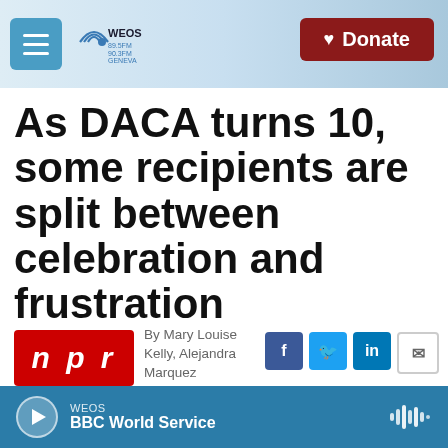WEOS | Donate
As DACA turns 10, some recipients are split between celebration and frustration
By Mary Louise Kelly, Alejandra Marquez Janse, Patrick Jarenwattananon
Published June 15, 2022 at 4:43 PM EDT
WEOS BBC World Service